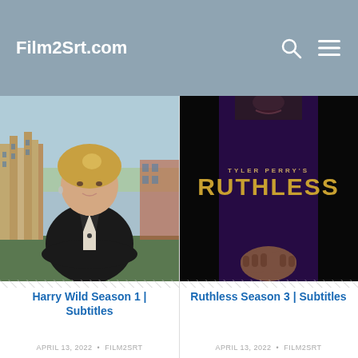Film2Srt.com
[Figure (photo): Promotional photo of a blonde woman in a black jacket with arms crossed, standing in front of a historic stone building with a green lawn and blue sky background.]
[Figure (photo): Tyler Perry's Ruthless TV show poster. Dark background with a figure in a purple outfit and clasped hands, with 'TYLER PERRY'S' in small gold text and 'RUTHLESS' in large gold bold letters.]
Harry Wild Season 1 | Subtitles
Ruthless Season 3 | Subtitles
APRIL 13, 2022  •  FILM2SRT
APRIL 13, 2022  •  FILM2SRT